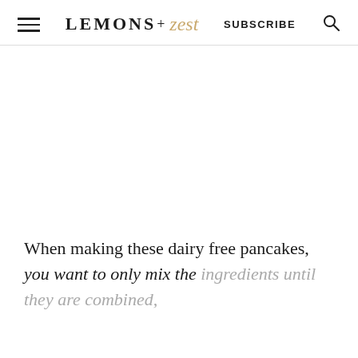LEMONS + zest | SUBSCRIBE
[Figure (other): Large blank white image placeholder area]
When making these dairy free pancakes, you want to only mix the ingredients until they are combined,